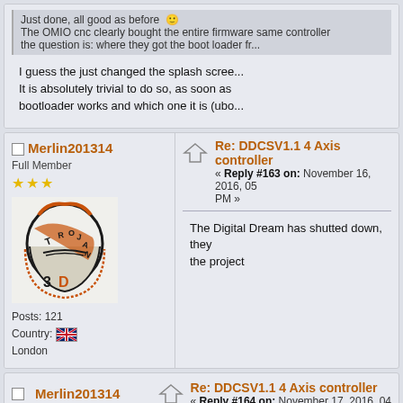Just done, all good as before
The OMIO cnc clearly bought the entire firmware same controller
the question is: where they got the boot loader fr...
I guess the just changed the splash scree... It is absolutely trivial to do so, as soon as bootloader works and which one it is (ubo...
Merlin201314
Full Member
[Figure (logo): Trojan 3D logo - a Trojan helmet in black and orange with text TROJAN and 3D]
Posts: 121
Country: [UK flag]
London
Re: DDCSV1.1 4 Axis controller
« Reply #163 on: November 16, 2016, 05 PM »
The Digital Dream has shutted down, they the project
Merlin201314
Re: DDCSV1.1 4 Axis controller
« Reply #164 on: November 17, 2016, 04